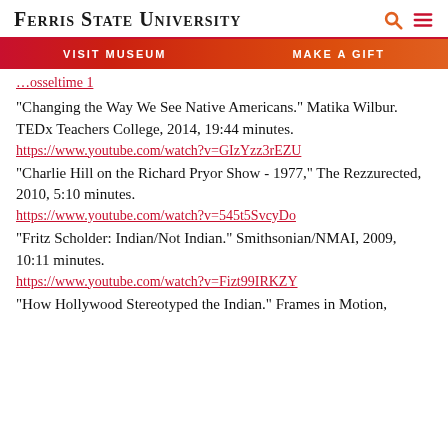Ferris State University
VISIT MUSEUM   MAKE A GIFT
…[partial link]
“Changing the Way We See Native Americans.” Matika Wilbur. TEDx Teachers College, 2014, 19:44 minutes.
https://www.youtube.com/watch?v=GIzYzz3rEZU
“Charlie Hill on the Richard Pryor Show - 1977,” The Rezzurected, 2010, 5:10 minutes.
https://www.youtube.com/watch?v=545t5SvcyDo
“Fritz Scholder: Indian/Not Indian.” Smithsonian/NMAI, 2009, 10:11 minutes.
https://www.youtube.com/watch?v=Fizt99IRKZY
“How Hollywood Stereotyped the Indian.” Frames in Motion,